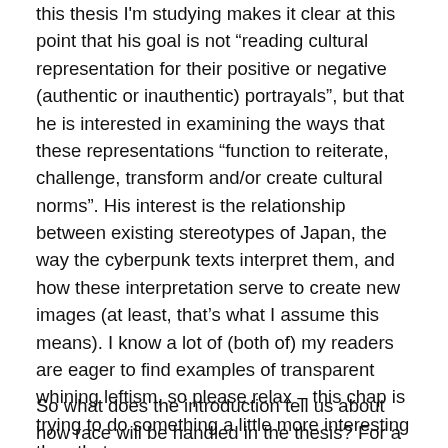this thesis I'm studying makes it clear at this point that his goal is not “reading cultural representation for their positive or negative (authentic or inauthentic) portrayals”, but that he is interested in examining the ways that these representations “function to reiterate, challenge, transform and/or create cultural norms”. His interest is the relationship between existing stereotypes of Japan, the way the cyberpunk texts interpret them, and how these interpretation serve to create new images (at least, that’s what I assume this means). I know a lot of (both of) my readers are eager to find examples of transparent whining leftism, so please relax – this chap is trying to do something a little more interesting than that.
So what does the introduction tell us about how race will be handled in the thesis? For a start, in the 4 pages